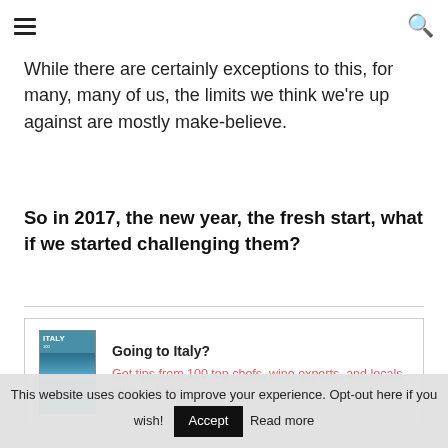☰ [hamburger menu] [search icon]
While there are certainly exceptions to this, for many, many of us, the limits we think we're up against are mostly make-believe.
So in 2017, the new year, the fresh start, what if we started challenging them?
[Figure (other): Promotional box for Italy travel book with cover image. Title: Going to Italy? Subtitle link text: Get tips from 100 top chefs, wine experts, and locals all over Italy!]
This website uses cookies to improve your experience. Opt-out here if you wish! Accept Read more